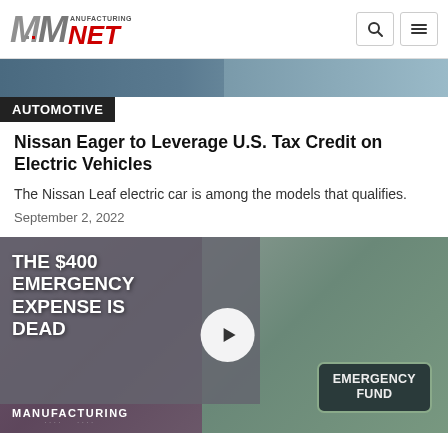Manufacturing.net
[Figure (photo): Top portion of automotive article image (dark/blurred photo strip)]
AUTOMOTIVE
Nissan Eager to Leverage U.S. Tax Credit on Electric Vehicles
The Nissan Leaf electric car is among the models that qualifies.
September 2, 2022
[Figure (screenshot): Video thumbnail with text overlay reading 'THE $400 EMERGENCY EXPENSE IS DEAD' with a play button, Emergency Fund jar image on right, and Manufacturing branding at bottom.]